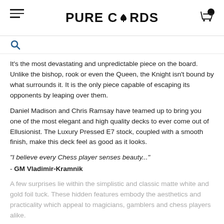PURE CARDS
It's the most devastating and unpredictable piece on the board. Unlike the bishop, rook or even the Queen, the Knight isn't bound by what surrounds it. It is the only piece capable of escaping its opponents by leaping over them.
Daniel Madison and Chris Ramsay have teamed up to bring you one of the most elegant and high quality decks to ever come out of Ellusionist. The Luxury Pressed E7 stock, coupled with a smooth finish, make this deck feel as good as it looks.
"I believe every Chess player senses beauty..." - GM Vladimir-Kramnik
A few surprises lie within the simplistic and classic matte white and gold foil tuck. These hidden features embody the aesthetics and practicality which appeal to magicians, gamblers and chess players alike.
+ MORE VIEW